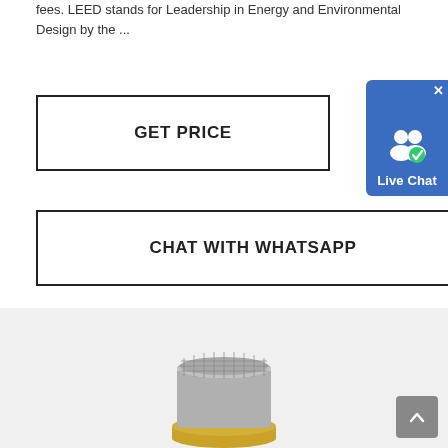fees. LEED stands for Leadership in Energy and Environmental Design by the ...
GET PRICE
[Figure (screenshot): Live Chat widget button with two person icons and a blue background]
CHAT WITH WHATSAPP
[Figure (photo): Product photo of a small cylindrical metallic sensor component with gold-colored base ring on a light gray background]